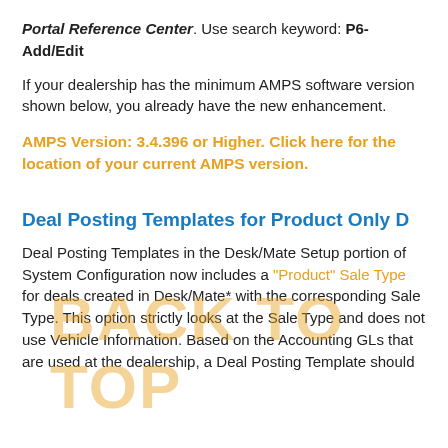Portal Reference Center. Use search keyword: P6-Add/Edit
If your dealership has the minimum AMPS software version shown below, you already have the new enhancement.
AMPS Version: 3.4.396 or Higher. Click here for the location of your current AMPS version.
Deal Posting Templates for Product Only D
Deal Posting Templates in the Desk/Mate Setup portion of System Configuration now includes a "Product" Sale Type for deals created in Desk/Mate* with the corresponding Sale Type. This option strictly looks at the Sale Type and does not use Vehicle Information. Based on the Accounting GLs that are used at the dealership, a Deal Posting Template should